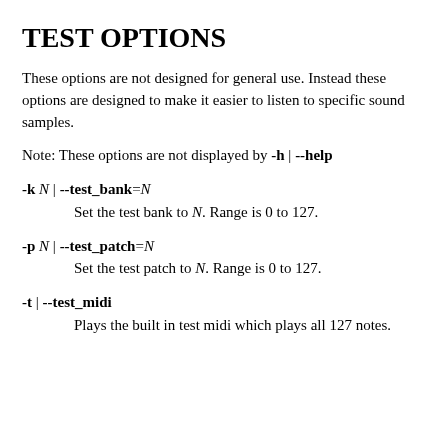TEST OPTIONS
These options are not designed for general use. Instead these options are designed to make it easier to listen to specific sound samples.
Note: These options are not displayed by -h | --help
-k N | --test_bank=N
        Set the test bank to N. Range is 0 to 127.
-p N | --test_patch=N
        Set the test patch to N. Range is 0 to 127.
-t | --test_midi
        Plays the built in test midi which plays all 127 notes.